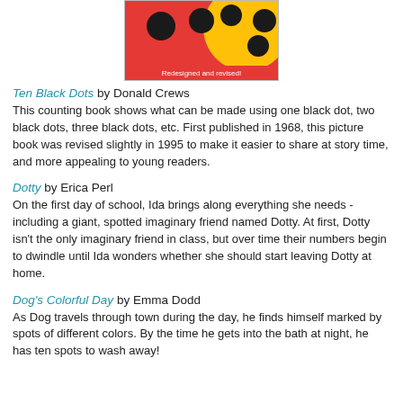[Figure (photo): Book cover of Ten Black Dots showing black dots on red and yellow background with text 'Redesigned and revised!']
Ten Black Dots by Donald Crews
This counting book shows what can be made using one black dot, two black dots, three black dots, etc. First published in 1968, this picture book was revised slightly in 1995 to make it easier to share at story time, and more appealing to young readers.
Dotty by Erica Perl
On the first day of school, Ida brings along everything she needs - including a giant, spotted imaginary friend named Dotty. At first, Dotty isn't the only imaginary friend in class, but over time their numbers begin to dwindle until Ida wonders whether she should start leaving Dotty at home.
Dog's Colorful Day by Emma Dodd
As Dog travels through town during the day, he finds himself marked by spots of different colors. By the time he gets into the bath at night, he has ten spots to wash away!